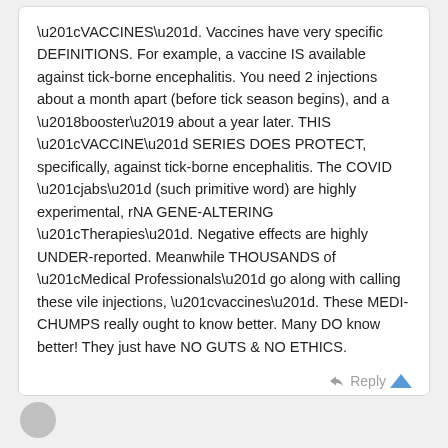“VACCINES”. Vaccines have very specific DEFINITIONS. For example, a vaccine IS available against tick-borne encephalitis. You need 2 injections about a month apart (before tick season begins), and a ‘booster’ about a year later. THIS “VACCINE” SERIES DOES PROTECT, specifically, against tick-borne encephalitis. The COVID “jabs” (such primitive word) are highly experimental, rNA GENE-ALTERING “Therapies”. Negative effects are highly UNDER-reported. Meanwhile THOUSANDS of “Medical Professionals” go along with calling these vile injections, “vaccines”. These MEDI-CHUMPS really ought to know better. Many DO know better! They just have NO GUTS & NO ETHICS.